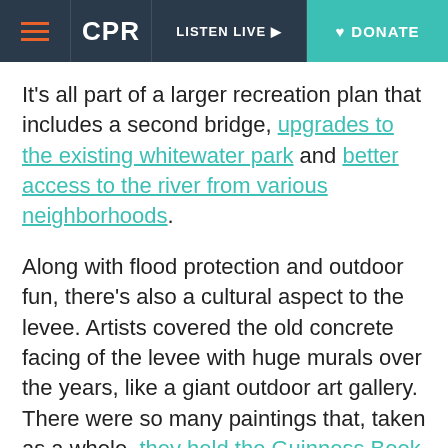CPR | LISTEN LIVE | DONATE
It’s all part of a larger recreation plan that includes a second bridge, upgrades to the existing whitewater park and better access to the river from various neighborhoods.
Along with flood protection and outdoor fun, there’s also a cultural aspect to the levee. Artists covered the old concrete facing of the levee with huge murals over the years, like a giant outdoor art gallery. There were so many paintings that, taken as a whole, they held the Guinness Book of World Records for the largest outdoor mural.
The record was lost when the repairs began and the art was slowly destroyed. New artists are once